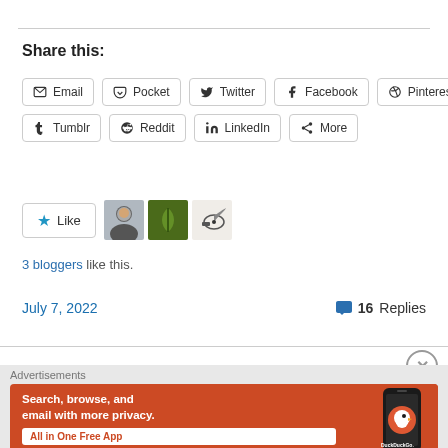Share this:
Email
Pocket
Twitter
Facebook
Pinterest
Tumblr
Reddit
LinkedIn
More
[Figure (illustration): Like button with star icon followed by three blogger avatar images]
3 bloggers like this.
July 7, 2022
16 Replies
[Figure (screenshot): DuckDuckGo advertisement banner: Search, browse, and email with more privacy. All in One Free App. Shows DuckDuckGo logo on a phone.]